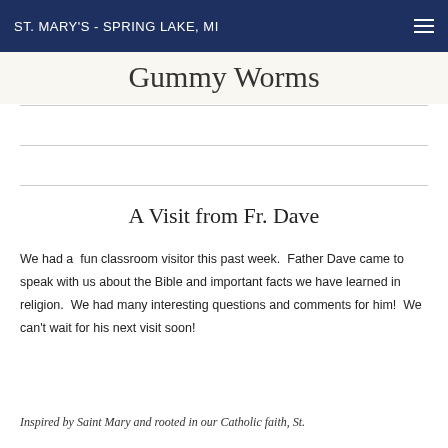ST. MARY'S - SPRING LAKE, MI
Gummy Worms
A Visit from Fr. Dave
We had a  fun classroom visitor this past week.  Father Dave came to speak with us about the Bible and important facts we have learned in religion.  We had many interesting questions and comments for him!  We can't wait for his next visit soon!
Inspired by Saint Mary and rooted in our Catholic faith, St. Mary's School fosters critical thinking, character and